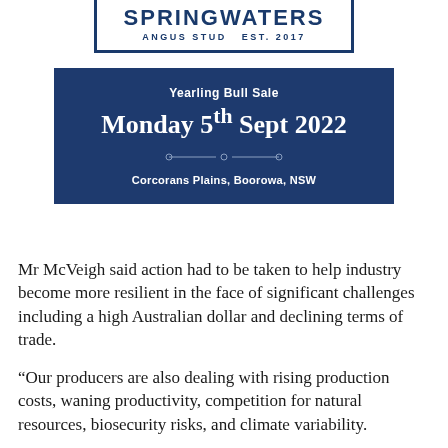SPRINGWATERS
ANGUS STUD  EST. 2017
[Figure (infographic): Blue banner with Springwaters Angus Stud Yearling Bull Sale event details: Monday 5th Sept 2022, Corcorans Plains, Boorowa, NSW]
Mr McVeigh said action had to be taken to help industry become more resilient in the face of significant challenges including a high Australian dollar and declining terms of trade.
“Our producers are also dealing with rising production costs, waning productivity, competition for natural resources, biosecurity risks, and climate variability.